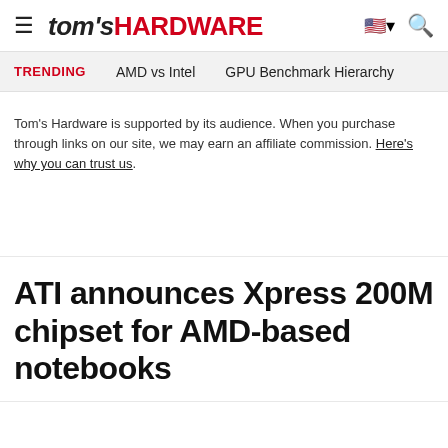tom's HARDWARE
TRENDING   AMD vs Intel   GPU Benchmark Hierarchy
Tom's Hardware is supported by its audience. When you purchase through links on our site, we may earn an affiliate commission. Here's why you can trust us.
ATI announces Xpress 200M chipset for AMD-based notebooks